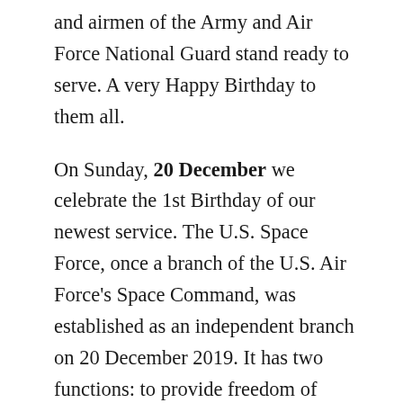and airmen of the Army and Air Force National Guard stand ready to serve. A very Happy Birthday to them all.
On Sunday, 20 December we celebrate the 1st Birthday of our newest service. The U.S. Space Force, once a branch of the U.S. Air Force's Space Command, was established as an independent branch on 20 December 2019. It has two functions: to provide freedom of operations for the United States in, to, and from space, and to provide prompt and sustained space operations. Air Force personnel began transferring to the Space Force in FY 2020 and